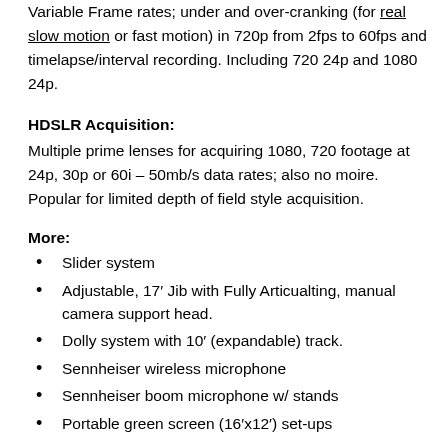Variable Frame rates; under and over-cranking (for real slow motion or fast motion) in 720p from 2fps to 60fps and timelapse/interval recording. Including 720 24p and 1080 24p.
HDSLR Acquisition:
Multiple prime lenses for acquiring 1080, 720 footage at 24p, 30p or 60i – 50mb/s data rates; also no moire.  Popular for limited depth of field style acquisition.
More:
Slider system
Adjustable, 17′ Jib with Fully Articualting, manual camera support head.
Dolly system with 10′ (expandable) track.
Sennheiser wireless microphone
Sennheiser boom microphone w/ stands
Portable green screen (16′x12′) set-ups